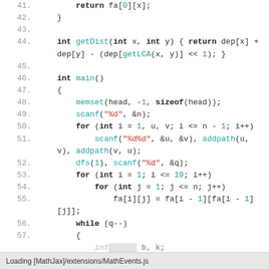[Figure (screenshot): Source code listing showing C++ code with line numbers 41-57 and partial lines 58-59. Code implements LCA (Lowest Common Ancestor) tree algorithm with functions getDist, main, and helper calls. Syntax highlighted with keywords in bold, function names in teal, and string literals in red.]
Loading [MathJax]/extensions/MathEvents.js